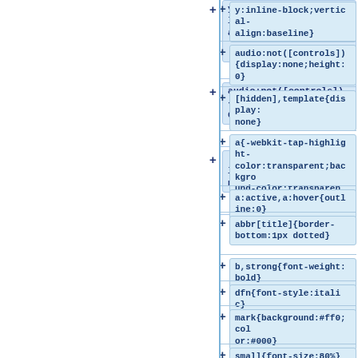+y:inline-block;vertical-align:baseline}
+audio:not([controls]){display:none;height:0}
+[hidden],template{display:none}
+a{-webkit-tap-highlight-color:transparent;background-color:transparent}
+a:active,a:hover{outline:0}
+abbr[title]{border-bottom:1px dotted}
+b,strong{font-weight:bold}
+dfn{font-style:italic}
+mark{background:#ff0;color:#000}
+small{font-size:80%}